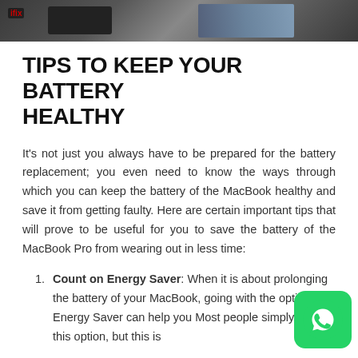[Figure (photo): Dark photo of a MacBook with its internal components visible, battery area exposed]
TIPS TO KEEP YOUR BATTERY HEALTHY
It's not just you always have to be prepared for the battery replacement; you even need to know the ways through which you can keep the battery of the MacBook healthy and save it from getting faulty. Here are certain important tips that will prove to be useful for you to save the battery of the MacBook Pro from wearing out in less time:
Count on Energy Saver: When it is about prolonging the battery of your MacBook, going with the option of Energy Saver can help you Most people simply ignore this option, but this is